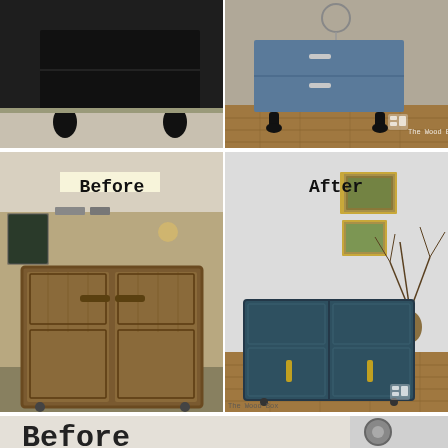[Figure (photo): Before and after comparison of a small dark-legged dresser/nightstand. Left (before): plain dark black finish in a workshop setting. Right (after): painted blue-grey distressed finish on wood floor, with The Wood Box watermark logo.]
[Figure (photo): Before and after comparison of a mid-century modern cabinet. Left (before): natural wood walnut finish in a workshop/garage with 'Before' label. Right (after): painted dark teal/navy blue finish with brass handles, styled with artwork and a vase, with 'After' label and The Wood Box watermark logo.]
[Figure (photo): Partial before photo at the bottom of the page showing the beginning of another before/after comparison, with 'Before' text visible.]